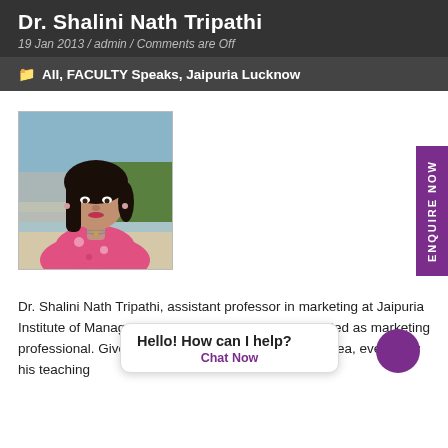Dr. Shalini Nath Tripathi
19 Jan 2013 / admin / Comments are Off
All, FACULTY Speaks, Jaipuria Lucknow
[Figure (photo): Photo of Dr. Shalini Nath Tripathi, a woman with dark hair wearing a pink floral top, photographed outdoors near water]
Dr. Shalini Nath Tripathi, assistant professor in marketing at Jaipuria Institute of Management, Lucknow campus, has started as marketing professional. Given her keen interest in the subject area, eventually his teaching